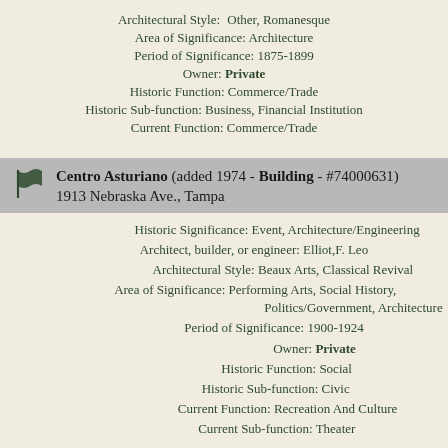Architectural Style: Other, Romanesque
Area of Significance: Architecture
Period of Significance: 1875-1899
Owner: Private
Historic Function: Commerce/Trade
Historic Sub-function: Business, Financial Institution
Current Function: Commerce/Trade
Centro Asturiano (added 1974 - Building - #74000631) 1913 Nebraska Ave., Tampa
Historic Significance: Event, Architecture/Engineering
Architect, builder, or engineer: Elliot,F. Leo
Architectural Style: Beaux Arts, Classical Revival
Area of Significance: Performing Arts, Social History, Politics/Government, Architecture
Period of Significance: 1900-1924
Owner: Private
Historic Function: Social
Historic Sub-function: Civic
Current Function: Recreation And Culture
Current Sub-function: Theater